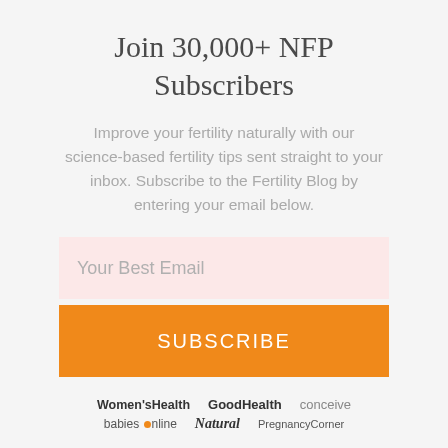Join 30,000+ NFP Subscribers
Improve your fertility naturally with our science-based fertility tips sent straight to your inbox. Subscribe to the Fertility Blog by entering your email below.
Your Best Email
SUBSCRIBE
[Figure (logo): Logos of media outlets: Women's Health, GoodHealth, conceive, babies online, Natural, PregnancyCorner]